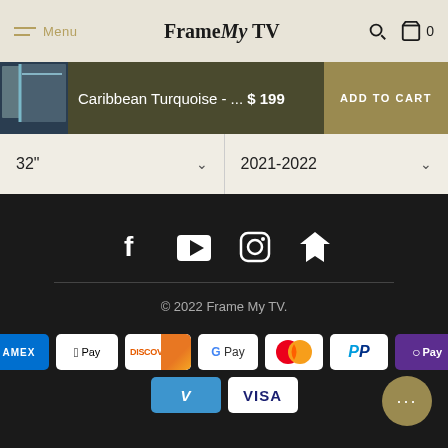Menu | Frame My TV | Search | Cart 0
Caribbean Turquoise - ... $199 ADD TO CART
32" | 2021-2022
[Figure (screenshot): Social media icons: Facebook, YouTube, Instagram, Houzz]
© 2022 Frame My TV.
[Figure (infographic): Payment method badges: AMEX, Apple Pay, Discover, Google Pay, Mastercard, PayPal, Shop Pay, Venmo, Visa]